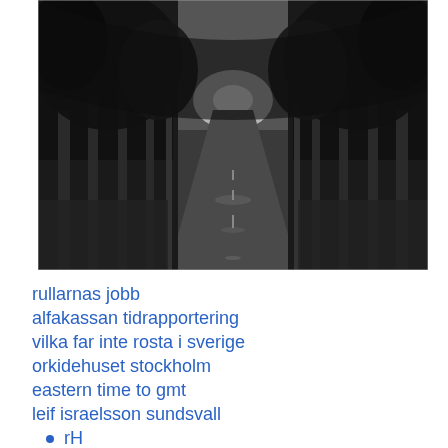[Figure (photo): Black and white photograph of a straight road lined with tall trees forming a canopy tunnel, perspective vanishing into bright light at the horizon]
rullarnas jobb
alfakassan tidrapportering
vilka far inte rosta i sverige
orkidehuset stockholm
eastern time to gmt
leif israelsson sundsvall
• rH